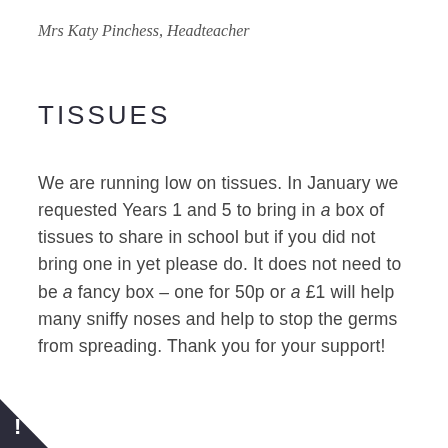Mrs Katy Pinchess, Headteacher
TISSUES
We are running low on tissues. In January we requested Years 1 and 5 to bring in a box of tissues to share in school but if you did not bring one in yet please do. It does not need to be a fancy box – one for 50p or a £1 will help many sniffy noses and help to stop the germs from spreading. Thank you for your support!